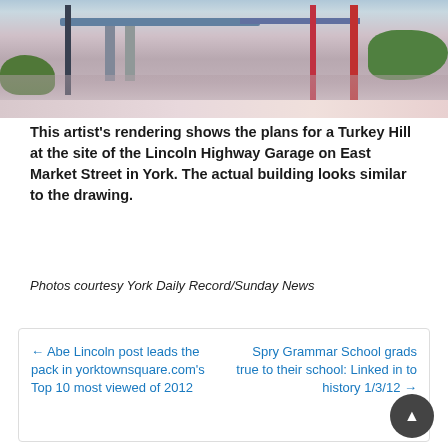[Figure (illustration): Artist's rendering/watercolor illustration of a Turkey Hill gas station with fuel pumps, canopy, red support columns, and trees reflected in wet pavement on East Market Street in York, PA]
This artist’s rendering shows the plans for a Turkey Hill at the site of the Lincoln Highway Garage on East Market Street in York. The actual building looks similar to the drawing.
Photos courtesy York Daily Record/Sunday News
← Abe Lincoln post leads the pack in yorktownsquare.com’s Top 10 most viewed of 2012
Spry Grammar School grads true to their school: Linked in to history 1/3/12 →